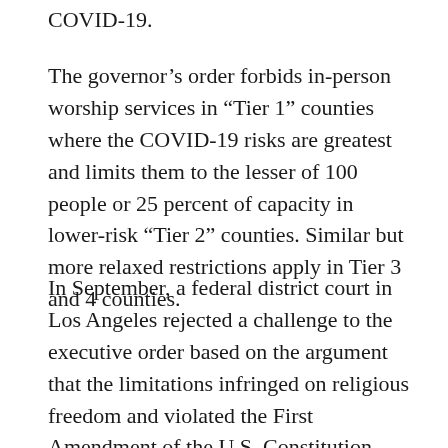COVID-19.
The governor’s order forbids in-person worship services in “Tier 1” counties where the COVID-19 risks are greatest and limits them to the lesser of 100 people or 25 percent of capacity in lower-risk “Tier 2” counties. Similar but more relaxed restrictions apply in Tier 3 and 4 counties.
In September, a federal district court in Los Angeles rejected a challenge to the executive order based on the argument that the limitations infringed on religious freedom and violated the First Amendment of the U.S. Constitution. The plaintiffs in that case appealed and asked the appellate court for an emergency order blocking Newsom’s order during the appeal.